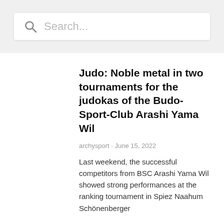Search...
Judo: Noble metal in two tournaments for the judokas of the Budo-Sport-Club Arashi Yama Wil
archysport · June 15, 2022
Last weekend, the successful competitors from BSC Arashi Yama Wil showed strong performances at the ranking tournament in Spiez Naahum Schönenberger